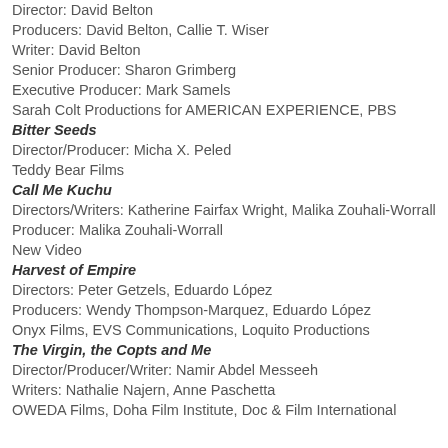Director: David Belton
Producers: David Belton, Callie T. Wiser
Writer: David Belton
Senior Producer: Sharon Grimberg
Executive Producer: Mark Samels
Sarah Colt Productions for AMERICAN EXPERIENCE, PBS
Bitter Seeds
Director/Producer: Micha X. Peled
Teddy Bear Films
Call Me Kuchu
Directors/Writers: Katherine Fairfax Wright, Malika Zouhali-Worrall
Producer: Malika Zouhali-Worrall
New Video
Harvest of Empire
Directors: Peter Getzels, Eduardo López
Producers: Wendy Thompson-Marquez, Eduardo López
Onyx Films, EVS Communications, Loquito Productions
The Virgin, the Copts and Me
Director/Producer/Writer: Namir Abdel Messeeh
Writers: Nathalie Najern, Anne Paschetta
OWEDA Films, Doha Film Institute, Doc & Film International